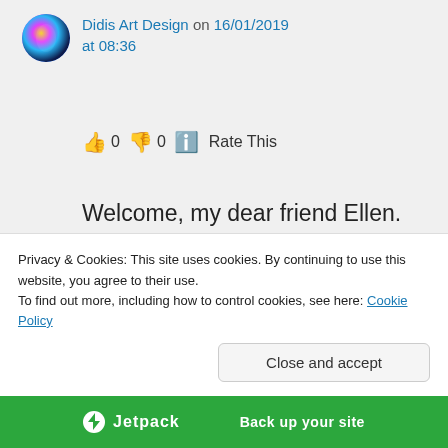[Figure (illustration): Circular avatar with colorful abstract design (blue, gold, purple)]
Didis Art Design on 16/01/2019 at 08:36
👍 0 👎 0 ℹ️ Rate This
Welcome, my dear friend Ellen.

May God protect you and yours

From heart to heart

Didi
Privacy & Cookies: This site uses cookies. By continuing to use this website, you agree to their use.
To find out more, including how to control cookies, see here: Cookie Policy
Close and accept
[Figure (logo): Jetpack green bar with logo and 'Back up your site' text]